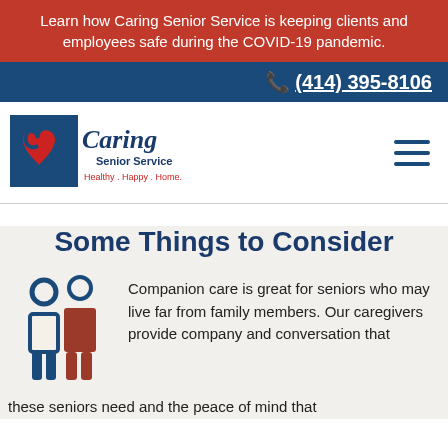Learn how Caring Senior Service is keeping clients and employees safe during the COVID-19 pandemic.
📞 (414) 395-8106
[Figure (logo): Caring Senior Service logo with red heart, blue rectangle background, script Caring text, 'Senior Service' subtitle, and tagline 'Healthy . Happy . Home.']
Some Things to Consider
[Figure (illustration): Two stylized figures: a blue outline person (caregiver) and a red/brown filled person (senior), standing side by side, icon style.]
Companion care is great for seniors who may live far from family members. Our caregivers provide company and conversation that these seniors need and the peace of mind that